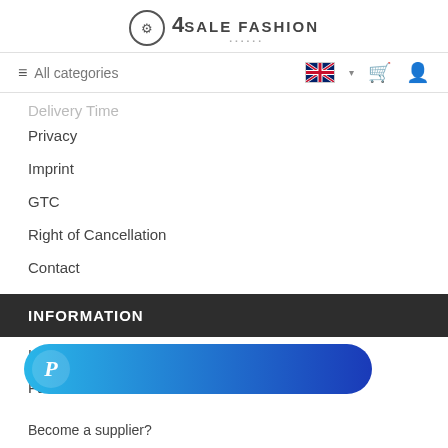4 SALE FASHION
≡ All categories
Delivery Time
Privacy
Imprint
GTC
Right of Cancellation
Contact
INFORMATION
How to Shop
Fashion ABC
[Figure (other): PayPal payment button with blue gradient background and PayPal logo]
Become a supplier?